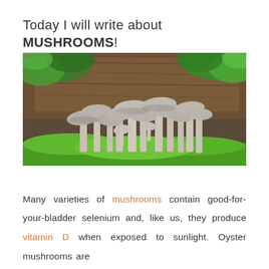Today I will write about MUSHROOMS!
[Figure (photo): A cluster of oyster mushrooms with grey-white caps growing on bright green moss, with a wooden log and green foliage in the background.]
Many varieties of mushrooms contain good-for-your-bladder selenium and, like us, they produce vitamin D when exposed to sunlight. Oyster mushrooms are...